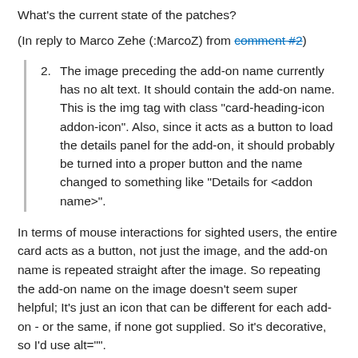What's the current state of the patches?
(In reply to Marco Zehe (:MarcoZ) from comment #2)
2. The image preceding the add-on name currently has no alt text. It should contain the add-on name. This is the img tag with class "card-heading-icon addon-icon". Also, since it acts as a button to load the details panel for the add-on, it should probably be turned into a proper button and the name changed to something like "Details for <addon name>".
In terms of mouse interactions for sighted users, the entire card acts as a button, not just the image, and the add-on name is repeated straight after the image. So repeating the add-on name on the image doesn't seem super helpful; It's just an icon that can be different for each add-on - or the same, if none got supplied. So it's decorative, so I'd use alt="".
However, there's no way to activate the card behaviour with the keyboard, and having nested focusable items (ie making the card focusable and then also making the menu in the card